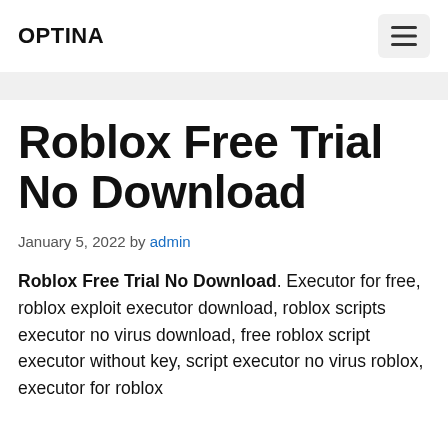OPTINA
Roblox Free Trial No Download
January 5, 2022 by admin
Roblox Free Trial No Download. Executor for free, roblox exploit executor download, roblox scripts executor no virus download, free roblox script executor without key, script executor no virus roblox, executor for roblox